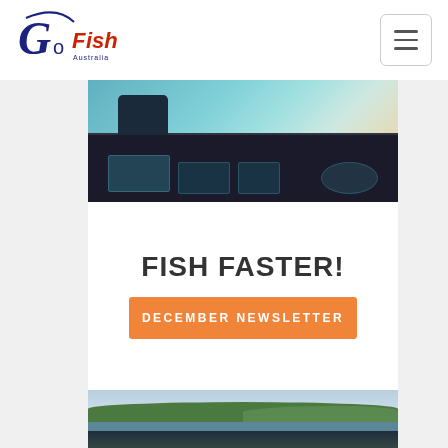[Figure (logo): Go Fish Australia logo — stylized G with fish text in navy and red]
[Figure (photo): View from inside a helicopter cockpit over coastal scenery with turquoise water and beach]
FISH FASTER!
DECEMBER NEWSLETTER
[Figure (photo): Outdoor dining table set up overlooking a scenic river landscape with green hills and cloudy sky]